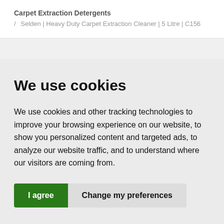Carpet Extraction Detergents / Selden | Heavy Duty Carpet Extraction Cleaner | 5 Litre | C156
We use cookies
We use cookies and other tracking technologies to improve your browsing experience on our website, to show you personalized content and targeted ads, to analyze our website traffic, and to understand where our visitors are coming from.
I agree   Change my preferences